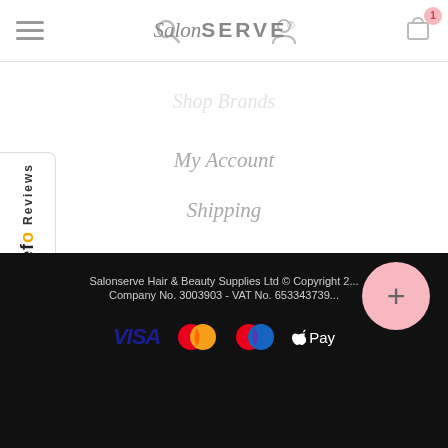SalonSERVE
Shop Brands
My Account
Shipping
Returns
Privacy Policy
Terms & Conditions
[Figure (logo): Feefo Reviews sidebar widget]
Salonserve Hair & Beauty Supplies Ltd © Copyright 2... Company No. 3003903 - VAT No. 653343739...
[Figure (infographic): Payment method icons: VISA, Mastercard, Maestro, Apple Pay]